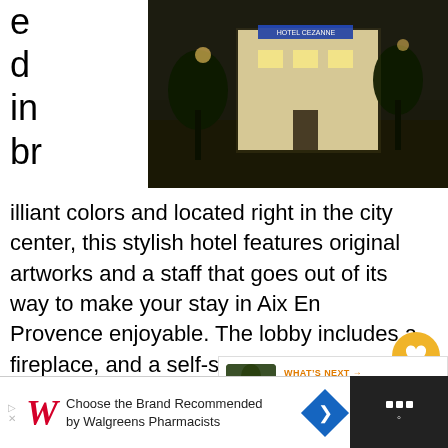[Figure (photo): Night exterior photo of Hotel Cezanne showing illuminated facade with trees and street]
e
d
in
br
illiant colors and located right in the city center, this stylish hotel features original artworks and a staff that goes out of its way to make your stay in Aix En Provence enjoyable. The lobby includes a fireplace, and a self-serve “honor” bar is available 24 hours a day.
WHAT’S NEXT →
Five Places to Stay in Aix-e...
Choose the Brand Recommended by Walgreens Pharmacists